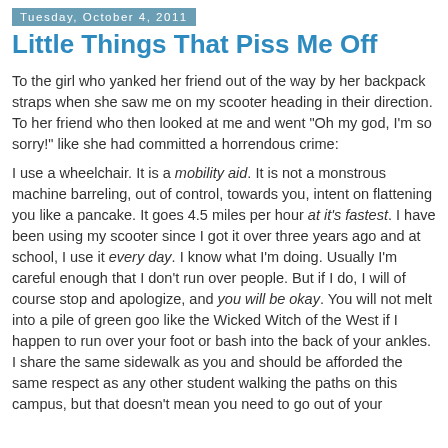Tuesday, October 4, 2011
Little Things That Piss Me Off
To the girl who yanked her friend out of the way by her backpack straps when she saw me on my scooter heading in their direction.  To her friend who then looked at me and went "Oh my god, I'm so sorry!" like she had committed a horrendous crime:
I use a wheelchair.  It is a mobility aid.  It is not a monstrous machine barreling, out of control, towards you, intent on flattening you like a pancake.  It goes 4.5 miles per hour at it's fastest.  I have been using my scooter since I got it over three years ago and at school, I use it every day.  I know what I'm doing.  Usually I'm careful enough that I don't run over people.  But if I do, I will of course stop and apologize, and you will be okay.  You will not melt into a pile of green goo like the Wicked Witch of the West if I happen to run over your foot or bash into the back of your ankles.  I share the same sidewalk as you and should be afforded the same respect as any other student walking the paths on this campus, but that doesn't mean you need to go out of your